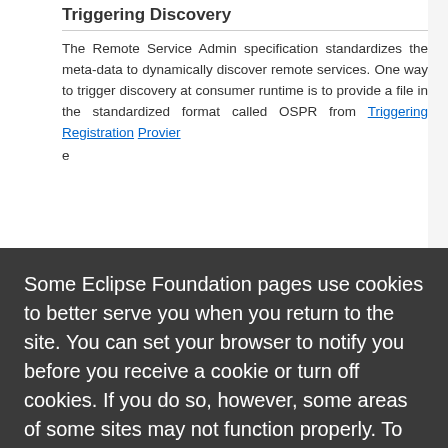Triggering Discovery
The Remote Service Admin specification standardizes the meta-data to dynamically discover remote services. One way to trigger discovery at consumer runtime is to provide a file in the standardized format called OSPR from [link text] [link text] [link text]er e
Some Eclipse Foundation pages use cookies to better serve you when you return to the site. You can set your browser to notify you before you receive a cookie or turn off cookies. If you do so, however, some areas of some sites may not function properly. To read Eclipse Foundation Privacy Policy
click here.
Decline
Allow cookies
</array>